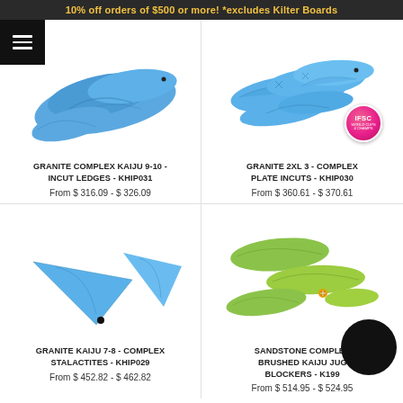10% off orders of $500 or more! *excludes Kilter Boards
[Figure (photo): Blue climbing hold set - Granite Complex Kaiju 9-10 Incut Ledges]
GRANITE COMPLEX KAIJU 9-10 - INCUT LEDGES - KHIP031
From $ 316.09 - $ 326.09
[Figure (photo): Blue climbing hold set - Granite 2XL 3 Complex Plate Incuts with IFSC badge]
GRANITE 2XL 3 - COMPLEX PLATE INCUTS - KHIP030
From $ 360.61 - $ 370.61
[Figure (photo): Blue climbing hold set - Granite Kaiju 7-8 Complex Stalactites]
GRANITE KAIJU 7-8 - COMPLEX STALACTITES - KHIP029
From $ 452.82 - $ 462.82
[Figure (photo): Green climbing hold set - Sandstone Complex Brushed Kaiju Jug Blockers]
SANDSTONE COMPLEX BRUSHED KAIJU JUG BLOCKERS - K199
From $ 514.95 - $ 524.95